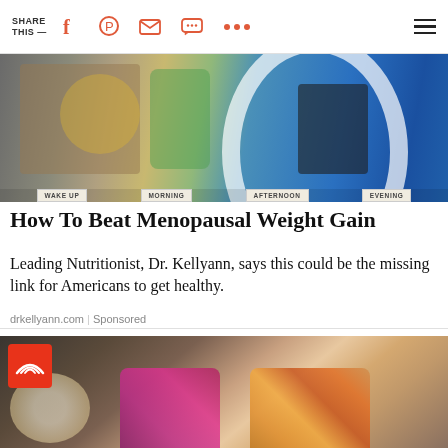SHARE THIS —
[Figure (photo): Photo of food items and drinks arranged on a table with labels reading WAKE UP, MORNING, AFTERNOON, EVENING on a blue background]
How To Beat Menopausal Weight Gain
Leading Nutritionist, Dr. Kellyann, says this could be the missing link for Americans to get healthy.
drkellyann.com | Sponsored
[Figure (photo): Two smiling women posing together, one with red hair wearing magenta, one blonde wearing yellow floral outfit, with TODAY show logo in corner]